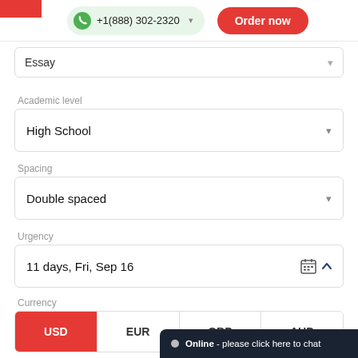+1(888) 302-2320 | Order now
Essay
Academic level
High School
Spacing
Double spaced
Urgency
11 days, Fri, Sep 16
Currency
USD   EUR   GBP   AUD
Number of pages
Online - please click here to chat